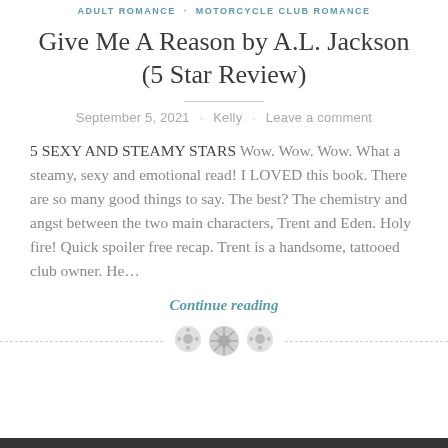ADULT ROMANCE · MOTORCYCLE CLUB ROMANCE
Give Me A Reason by A.L. Jackson (5 Star Review)
September 5, 2021 · Kelly · Leave a comment
5 SEXY AND STEAMY STARS Wow. Wow. Wow. What a steamy, sexy and emotional read! I LOVED this book. There are so many good things to say. The best? The chemistry and angst between the two main characters, Trent and Eden. Holy fire! Quick spoiler free recap. Trent is a handsome, tattooed club owner. He…
Continue reading
[Figure (other): Three decorative button/circle icons used as a section divider ornament]